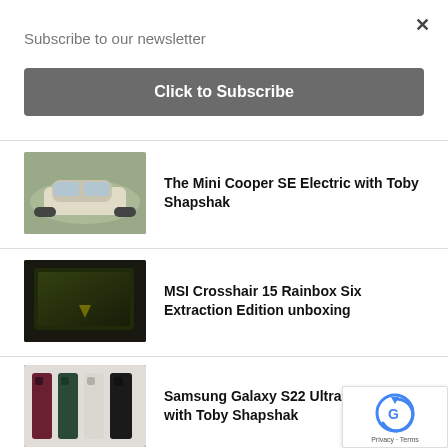×
Subscribe to our newsletter
Click to Subscribe
The Mini Cooper SE Electric with Toby Shapshak
[Figure (photo): Mini Cooper SE Electric car driving on road]
MSI Crosshair 15 Rainbox Six Extraction Edition unboxing
[Figure (photo): MSI Crosshair 15 gaming laptop Rainbow Six Extraction Edition]
Samsung Galaxy S22 Ultra unboxing with Toby Shapshak
[Figure (photo): Samsung Galaxy S22 Ultra phones in multiple colors]
Privacy · Terms